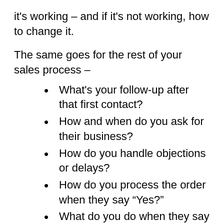it's working – and if it's not working, how to change it.
The same goes for the rest of your sales process –
What's your follow-up after that first contact?
How and when do you ask for their business?
How do you handle objections or delays?
How do you process the order when they say “Yes?”
What do you do when they say “No?”
How do you get back to them to verify satisfaction?